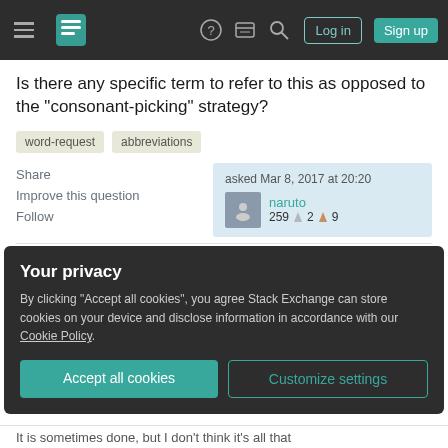Stack Exchange navigation bar with hamburger menu, logo, help, chat, search icons, Log in and Sign up buttons
Is there any specific term to refer to this as opposed to the "consonant-picking" strategy?
word-request
abbreviations
Share
Improve this question
Follow
asked Mar 8, 2017 at 20:20
naruto
259 2 9
"Abbreviation" is the term used for either. However,
Your privacy
By clicking "Accept all cookies", you agree Stack Exchange can store cookies on your device and disclose information in accordance with our Cookie Policy.
Accept all cookies
Customize settings
It is sometimes done, but I don't think it's all that